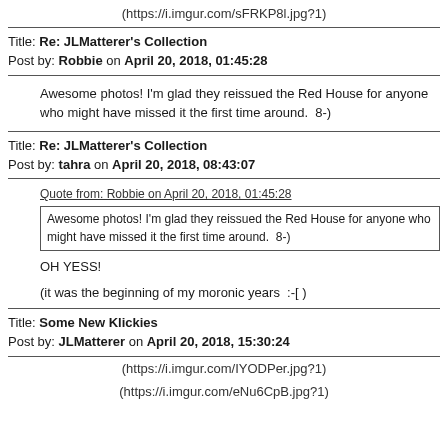(https://i.imgur.com/sFRKP8l.jpg?1)
Title: Re: JLMatterer's Collection
Post by: Robbie on April 20, 2018, 01:45:28
Awesome photos! I'm glad they reissued the Red House for anyone who might have missed it the first time around.  8-)
Title: Re: JLMatterer's Collection
Post by: tahra on April 20, 2018, 08:43:07
Quote from: Robbie on April 20, 2018, 01:45:28
Awesome photos! I'm glad they reissued the Red House for anyone who might have missed it the first time around.  8-)
OH YESS!
(it was the beginning of my moronic years  :-[ )
Title: Some New Klickies
Post by: JLMatterer on April 20, 2018, 15:30:24
(https://i.imgur.com/IYODPer.jpg?1)
(https://i.imgur.com/eNu6CpB.jpg?1)